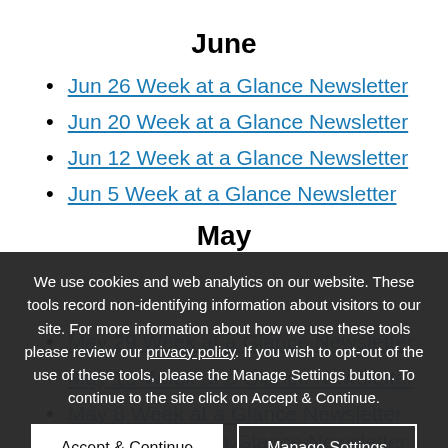June
Jun 26 Week at a Glance Newsletter
Jun 20 Week at a Glance Newsletter
Jun 12 Week at a Glance Newsletter
Jun 5 Week at a Glance Newsletter
May
May 29 Week at a Glance Newsletter
May 13 Week at a Glance Newsletter
May 8 Week at a Glance Newsletter
May 1 Week at a Glance Newsletter
We use cookies and web analytics on our website. These tools record non-identifying information about visitors to our site. For more information about how we use these tools please review our privacy policy. If you wish to opt-out of the use of these tools, please the Manage Settings button. To continue to the site click on Accept & Continue.
Apr 24 Week at a Glance Newsletter